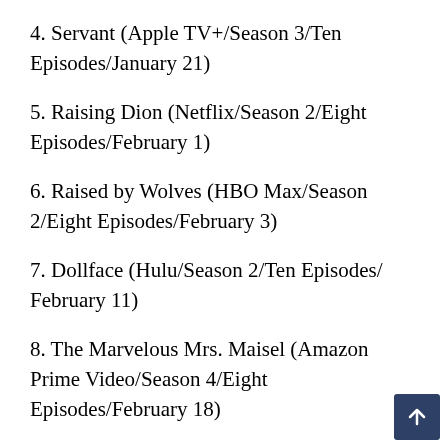4. Servant (Apple TV+/Season 3/Ten Episodes/January 21)
5. Raising Dion (Netflix/Season 2/Eight Episodes/February 1)
6. Raised by Wolves (HBO Max/Season 2/Eight Episodes/February 3)
7. Dollface (Hulu/Season 2/Ten Episodes/ February 11)
8. The Marvelous Mrs. Maisel (Amazon Prime Video/Season 4/Eight Episodes/February 18)
9. Outlander (Starz/Season 6/Eight Episodes/March